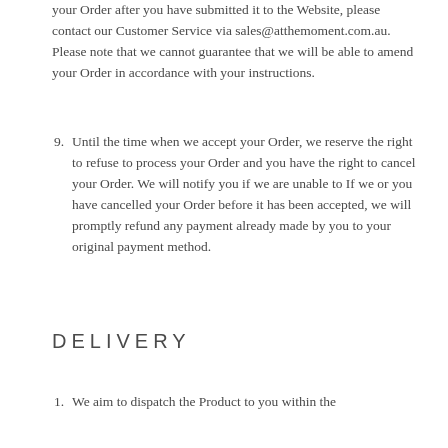your Order after you have submitted it to the Website, please contact our Customer Service via sales@atthemoment.com.au. Please note that we cannot guarantee that we will be able to amend your Order in accordance with your instructions.
9. Until the time when we accept your Order, we reserve the right to refuse to process your Order and you have the right to cancel your Order. We will notify you if we are unable to If we or you have cancelled your Order before it has been accepted, we will promptly refund any payment already made by you to your original payment method.
DELIVERY
1. We aim to dispatch the Product to you within the